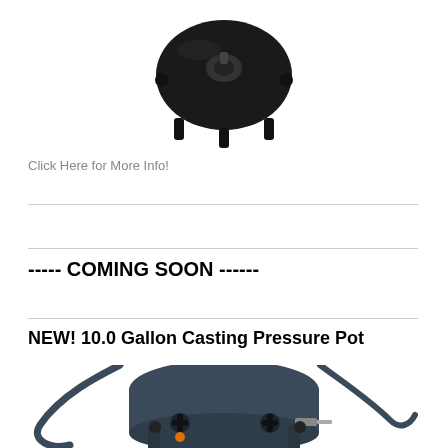[Figure (photo): Top portion of a black casting pressure pot with legs/feet visible, viewed from above/side angle, on white background]
Click Here for More Info!
----- COMING SOON ------
NEW!  10.0 Gallon Casting Pressure Pot
[Figure (photo): Partial view of a 10.0 Gallon Casting Pressure Pot with blue/gray metal frame, hoses, valves with wing nuts, and fittings, on white background]